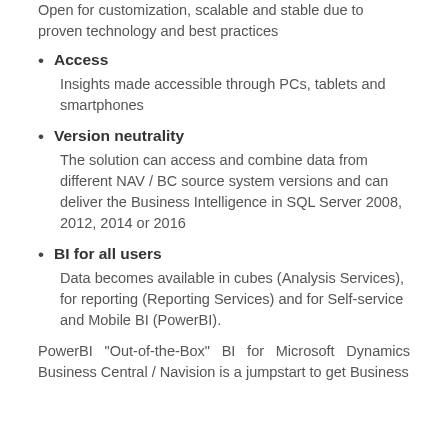Open for customization, scalable and stable due to proven technology and best practices
Access
Insights made accessible through PCs, tablets and smartphones
Version neutrality
The solution can access and combine data from different NAV / BC source system versions and can deliver the Business Intelligence in SQL Server 2008, 2012, 2014 or 2016
BI for all users
Data becomes available in cubes (Analysis Services), for reporting (Reporting Services) and for Self-service and Mobile BI (PowerBI).
PowerBI "Out-of-the-Box" BI for Microsoft Dynamics Business Central / Navision is a jumpstart to get Business